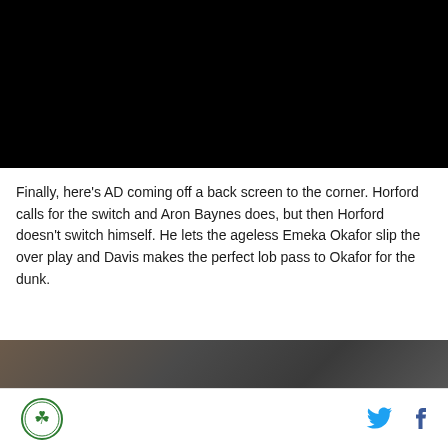[Figure (screenshot): Black video player placeholder]
Finally, here’s AD coming off a back screen to the corner. Horford calls for the switch and Aron Baynes does, but then Horford doesn’t switch himself. He lets the ageless Emeka Okafor slip the over play and Davis makes the perfect lob pass to Okafor for the dunk.
[Figure (photo): Partially visible sports photo at bottom of page]
Celtics logo | Twitter icon | Facebook icon